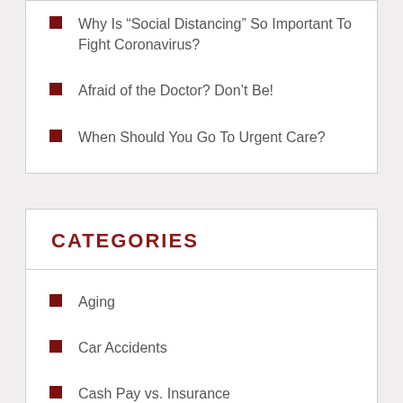Why Is “Social Distancing” So Important To Fight Coronavirus?
Afraid of the Doctor? Don’t Be!
When Should You Go To Urgent Care?
CATEGORIES
Aging
Car Accidents
Cash Pay vs. Insurance